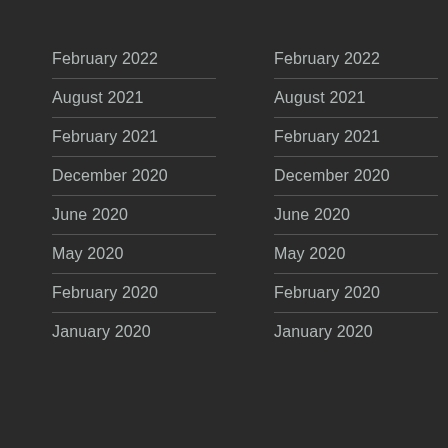February 2022
August 2021
February 2021
December 2020
June 2020
May 2020
February 2020
January 2020
February 2022
August 2021
February 2021
December 2020
June 2020
May 2020
February 2020
January 2020